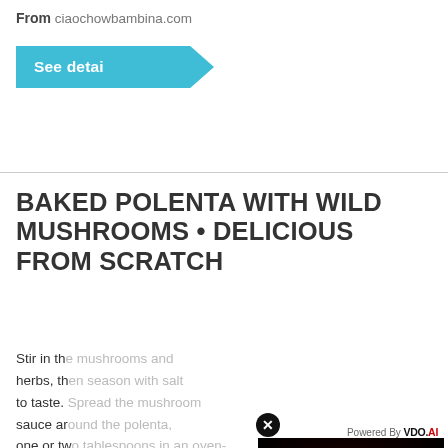From ciaochowbambina.com
[Figure (screenshot): Teal 'See detai' button with arrow shape on right side]
BAKED POLENTA WITH WILD MUSHROOMS • DELICIOUS FROM SCRATCH
Stir in th... herbs, th... to taste. sauce ar... one or tw... proof dis... between...
...
From de...
[Figure (screenshot): Teal 'See d' button with arrow shape, partially visible]
[Figure (screenshot): Video overlay showing 'No compatible source was found for this media.' with 'IMMUNE X SYSTEM HOW IT ACTUALLY WORKS' text on dark red background. Powered By VDO.AI label in top right, X close button in top left.]